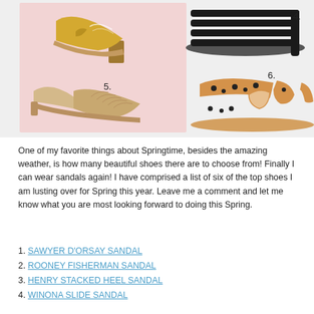[Figure (photo): Collage of spring sandals. Left side has pink background with two sandals labeled 5 and partially visible top sandals. Right side shows sandals labeled 4 and 6. Item 5 is a beige d'Orsay flat sandal. Item 4 is a black strappy sandal. Item 6 is a leopard print strappy sandal.]
One of my favorite things about Springtime, besides the amazing weather, is how many beautiful shoes there are to choose from! Finally I can wear sandals again! I have comprised a list of six of the top shoes I am lusting over for Spring this year. Leave me a comment and let me know what you are most looking forward to doing this Spring.
1. SAWYER D'ORSAY SANDAL
2. ROONEY FISHERMAN SANDAL
3. HENRY STACKED HEEL SANDAL
4. WINONA SLIDE SANDAL